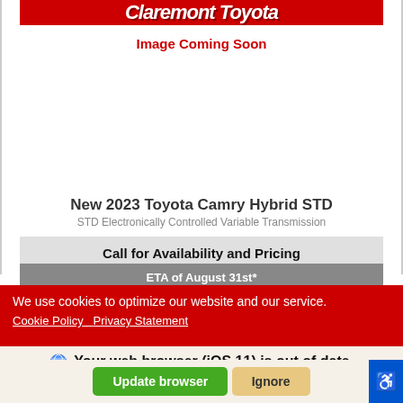[Figure (screenshot): Claremont Toyota dealership logo - red background with white italic bold text]
Image Coming Soon
New 2023 Toyota Camry Hybrid STD
STD Electronically Controlled Variable Transmission
Call for Availability and Pricing
ETA of August 31st*
We use cookies to optimize our website and our service.
Cookie Policy  Privacy Statement
Your web browser (iOS 11) is out of date.
Update your browser for more security, speed and the best experience on this site.